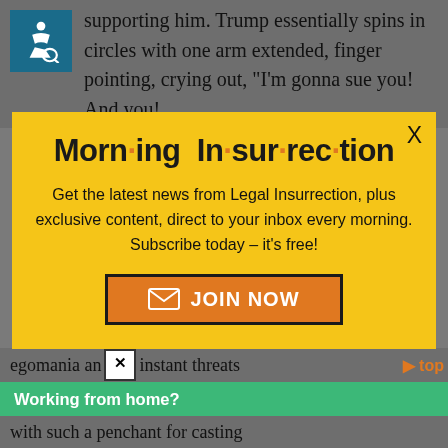supporting him. Trump essentially spins in circles with one arm extended, finger pointing, crying out, “I’m gonna sue you! And you!
[Figure (screenshot): Morning Insurrection newsletter popup modal with yellow background, close X button, title 'Morn·ing In·sur·rec·tion', subscription text, and orange JOIN NOW button]
egomania an❌ instant threats
[Figure (infographic): Green Fiverr banner: Working from home? Get your projects done on fiverr]
with such a penchant for casting